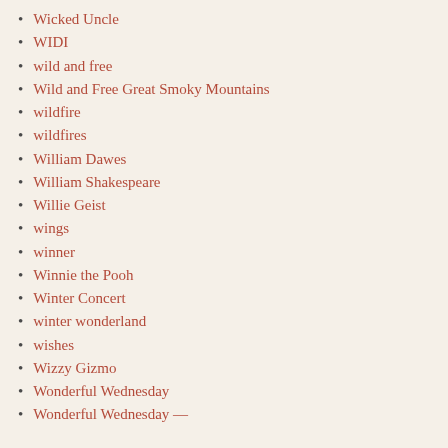Wicked Uncle
WIDI
wild and free
Wild and Free Great Smoky Mountains
wildfire
wildfires
William Dawes
William Shakespeare
Willie Geist
wings
winner
Winnie the Pooh
Winter Concert
winter wonderland
wishes
Wizzy Gizmo
Wonderful Wednesday
Wonderful Wednesday (cont.)